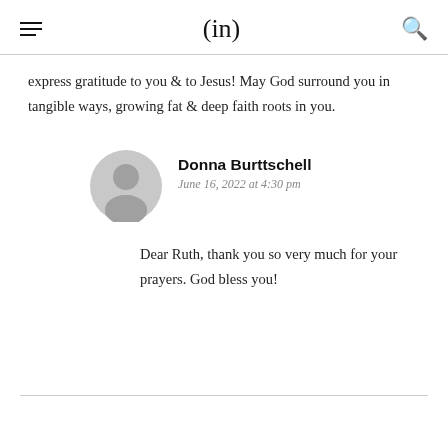(in)
express gratitude to you & to Jesus! May God surround you in tangible ways, growing fat & deep faith roots in you.
Donna Burttschell
June 16, 2022 at 4:30 pm
Dear Ruth, thank you so very much for your prayers. God bless you!